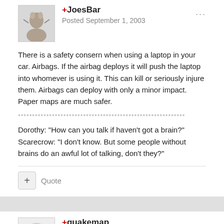[Figure (photo): Avatar image of JoesBar user showing a cartoon character]
+JoesBar
Posted September 1, 2003
There is a safety consern when using a laptop in your car. Airbags. If the airbag deploys it will push the laptop into whomever is using it. This can kill or seriously injure them. Airbags can deploy with only a minor impact. Paper maps are much safer.
***********************************************************
Dorothy: "How can you talk if haven't got a brain?" Scarecrow: "I don't know. But some people without brains do an awful lot of talking, don't they?"
+ Quote
[Figure (photo): Avatar image of quakemap user with asterisk/star icon]
+quakemap
Posted September 1, 2003
QuakeMap can track current position; I am not sure about Pino 120...